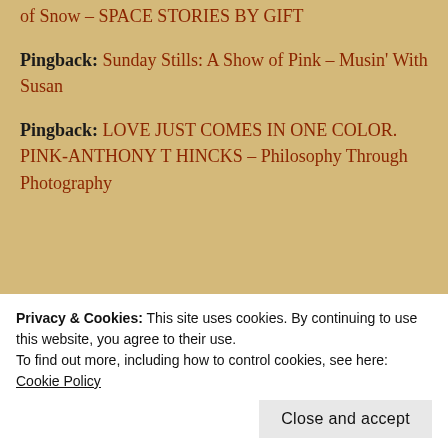of Snow – SPACE STORIES BY GIFT
Pingback: Sunday Stills: A Show of Pink – Musin' With Susan
Pingback: LOVE JUST COMES IN ONE COLOR. PINK-ANTHONY T HINCKS – Philosophy Through Photography
Susanne Swanson
Privacy & Cookies: This site uses cookies. By continuing to use this website, you agree to their use.
To find out more, including how to control cookies, see here: Cookie Policy
Close and accept
https://catsandtrailsandgardentales.c